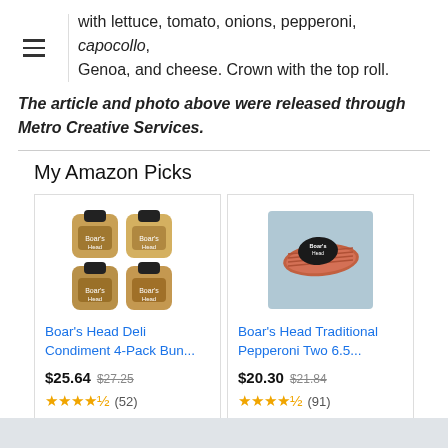with lettuce, tomato, onions, pepperoni, capocollo, Genoa, and cheese. Crown with the top roll.
The article and photo above were released through Metro Creative Services.
My Amazon Picks
[Figure (photo): Boar's Head Deli Condiment 4-Pack - four mustard/condiment bottles in a 2x2 grid arrangement with black caps and golden/tan labels]
Boar's Head Deli Condiment 4-Pack Bun...
$25.64  $27.25  ★★★★½ (52)
[Figure (photo): Boar's Head Traditional Pepperoni Two 6.5 oz - a pepperoni stick with dark label, pinkish-red casing with netting visible]
Boar's Head Traditional Pepperoni Two 6.5...
$20.30  $21.84  ★★★★½ (91)